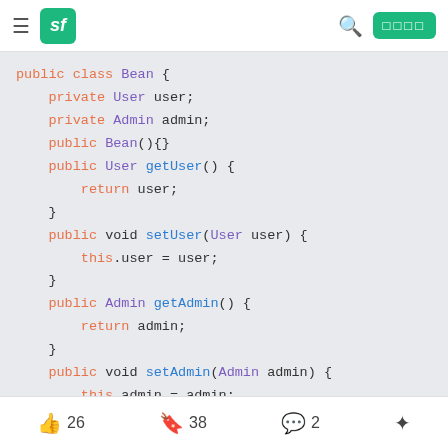sf [logo] [search] [login button]
[Figure (screenshot): Java code snippet showing a Bean class with User and Admin fields, constructors, getters and setters]
26 likes  38 bookmarks  2 comments  share